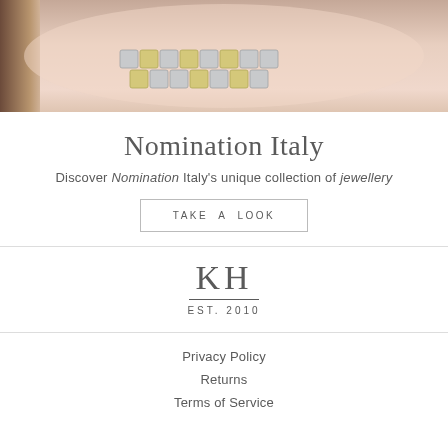[Figure (photo): Close-up photo of a hand wearing a Nomination Italy charm bracelet with silver and gold square links, against a light pink/beige background]
Nomination Italy
Discover Nomination Italy's unique collection of jewellery
TAKE A LOOK
[Figure (logo): KH logo with large serif letters KH, a horizontal line beneath, and EST. 2010 text below]
Privacy Policy
Returns
Terms of Service